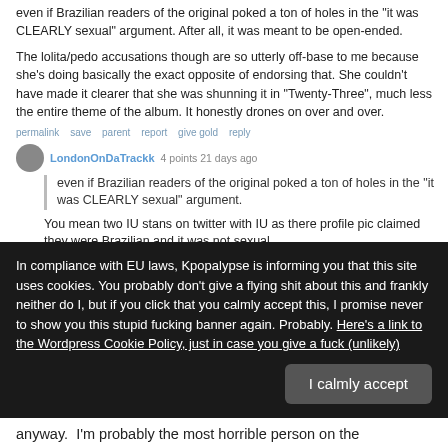even if Brazilian readers of the original poked a ton of holes in the "it was CLEARLY sexual" argument. After all, it was meant to be open-ended.
The lolita/pedo accusations though are so utterly off-base to me because she's doing basically the exact opposite of endorsing that. She couldn't have made it clearer that she was shunning it in "Twenty-Three", much less the entire theme of the album. It honestly drones on over and over.
permalink   save   parent   report   give gold   reply
[–] LondonOnDaTrackk   4 points 21 days ago
even if Brazilian readers of the original poked a ton of holes in the "it was CLEARLY sexual" argument.
You mean two IU stans on twitter with IU as there profile pic claimed they were Brazilian and it was not sexual.
STELLAR ARGUEMENT
In compliance with EU laws, Kpopalypse is informing you that this site uses cookies. You probably don't give a flying shit about this and frankly neither do I, but if you click that you calmly accept this, I promise never to show you this stupid fucking banner again. Probably. Here's a link to the Wordpress Cookie Policy, just in case you give a fuck (unlikely)
I calmly accept
anyway.  I'm probably the most horrible person on the